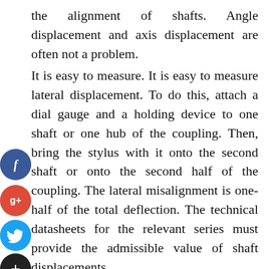the alignment of shafts. Angle displacement and axis displacement are often not a problem.
It is easy to measure. It is easy to measure lateral displacement. To do this, attach a dial gauge and a holding device to one shaft or one hub of the coupling. Then, bring the stylus with it onto the second shaft or onto the second half of the coupling. The lateral misalignment is one-half of the total deflection. The technical datasheets for the relevant series must provide the admissible value of shaft displacements.